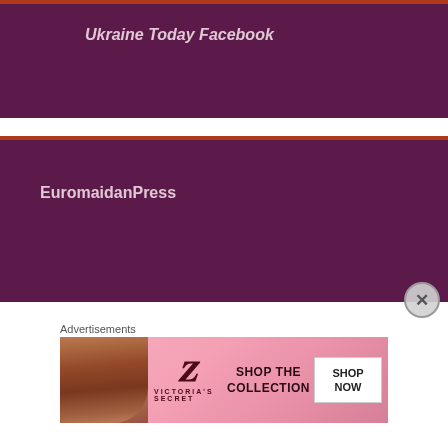[Figure (screenshot): Dark purple card with top orange-red border strip, containing text 'Ukraine Today Facebook' in light pink/white bold font]
[Figure (screenshot): Dark purple card with top orange-red border strip, containing text 'EuromaidanPress' in light pink/white bold font]
[Figure (screenshot): Dark purple card with top orange-red border strip, partially visible at bottom]
[Figure (screenshot): Victoria's Secret advertisement banner: model on left, VS logo in center, 'SHOP THE COLLECTION' text, and 'SHOP NOW' button on right]
Advertisements
[Figure (other): Close/dismiss button (X) circle at right side of page]